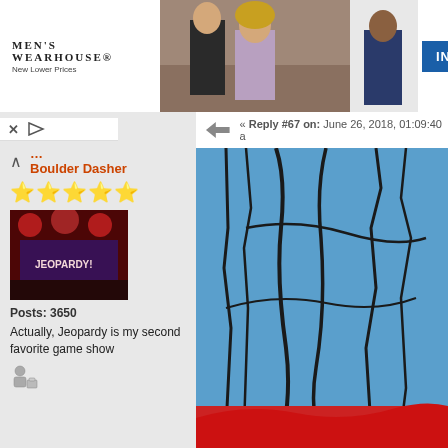[Figure (screenshot): Men's Wearhouse advertisement banner with couple in formal wear, man in blue suit, and INFO button]
« Reply #67 on: June 26, 2018, 01:09:40 a
Boulder Dasher
[Figure (illustration): Five gold star rating icons]
[Figure (photo): User avatar photo showing Jeopardy stage with red lighting]
Posts: 3650
Actually, Jeopardy is my second favorite game show
[Figure (illustration): Small user/profile icon with luggage]
[Figure (illustration): Cartoon illustration with blue background showing dark outlines of a figure, partial red section at bottom]